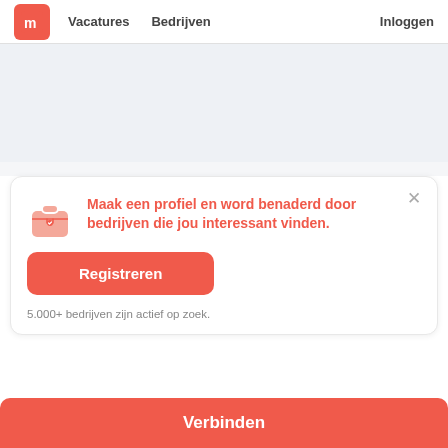Vacatures  Bedrijven  Inloggen
[Figure (screenshot): Light blue-gray banner/placeholder area]
Maak een profiel en word benaderd door bedrijven die jou interessant vinden.
Registreren
5.000+ bedrijven zijn actief op zoek.
Verbinden